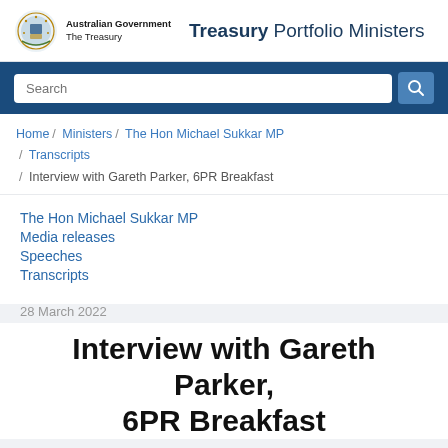Australian Government The Treasury | Treasury Portfolio Ministers
Search
Home / Ministers / The Hon Michael Sukkar MP / Transcripts / Interview with Gareth Parker, 6PR Breakfast
The Hon Michael Sukkar MP
Media releases
Speeches
Transcripts
28 March 2022
Interview with Gareth Parker, 6PR Breakfast